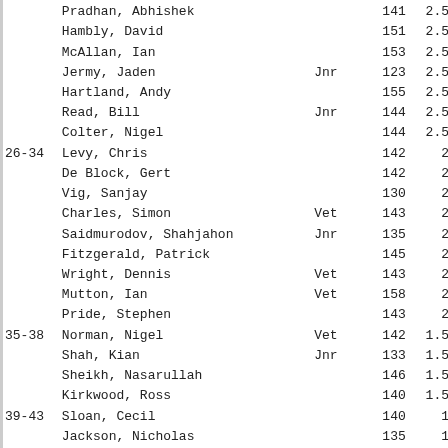| Rank | Name | Category | Num | Pts |
| --- | --- | --- | --- | --- |
|  | Pradhan, Abhishek |  | 141 | 2.5 |
|  | Hambly, David |  | 151 | 2.5 |
|  | McAllan, Ian |  | 153 | 2.5 |
|  | Jermy, Jaden | Jnr | 123 | 2.5 |
|  | Hartland, Andy |  | 155 | 2.5 |
|  | Read, Bill | Jnr | 144 | 2.5 |
|  | Colter, Nigel |  | 144 | 2.5 |
| 26-34 | Levy, Chris |  | 142 | 2 |
|  | De Block, Gert |  | 142 | 2 |
|  | Vig, Sanjay |  | 130 | 2 |
|  | Charles, Simon | Vet | 143 | 2 |
|  | Saidmurodov, Shahjahon | Jnr | 135 | 2 |
|  | Fitzgerald, Patrick |  | 145 | 2 |
|  | Wright, Dennis | Vet | 143 | 2 |
|  | Mutton, Ian | Vet | 158 | 2 |
|  | Pride, Stephen |  | 143 | 2 |
| 35-38 | Norman, Nigel | Vet | 142 | 1.5 |
|  | Shah, Kian | Jnr | 133 | 1.5 |
|  | Sheikh, Nasarullah |  | 146 | 1.5 |
|  | Kirkwood, Ross |  | 140 | 1.5 |
| 39-43 | Sloan, Cecil |  | 140 | 1 |
|  | Jackson, Nicholas |  | 135 | 1 |
|  | Royal, Shreyas | Jnr | 135 | 1 |
|  | Tathare, Sandesh |  |  | 1 |
|  | Bovtramovics, Vladimir |  | 156 | 1 |